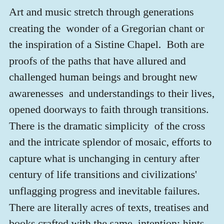Art and music stretch through generations creating the wonder of a Gregorian chant or the inspiration of a Sistine Chapel.  Both are proofs of the paths that have allured and challenged human beings and brought new awarenesses  and understandings to their lives, opened doorways to faith through transitions.   There is the dramatic simplicity  of the cross and the intricate splendor of mosaic, efforts to capture what is unchanging in century after century of life transitions and civilizations'  unflagging progress and inevitable failures.  There are literally acres of texts, treatises and books crafted with the same  intention: hints for pathways to the most sacred of spaces.  The possibilities are virtually endless, and yet the purpose, the promise, is the same:  there is something beyond the transitions observed in life, something that is unchanging and can be trusted for sustenance and support: Faith.